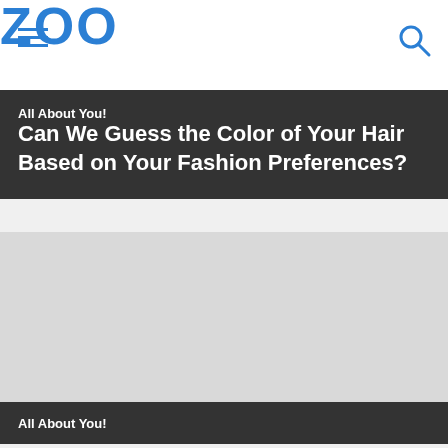ZOO
All About You!
Can We Guess the Color of Your Hair Based on Your Fashion Preferences?
[Figure (photo): Gray placeholder image area]
All About You!